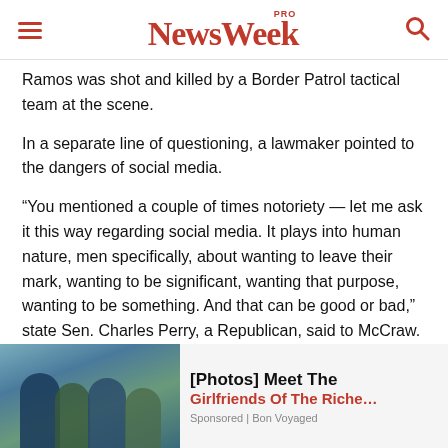NewsWeek PRO
Ramos was shot and killed by a Border Patrol tactical team at the scene.
In a separate line of questioning, a lawmaker pointed to the dangers of social media.
“You mentioned a couple of times notoriety — let me ask it this way regarding social media. It plays into human nature, men specifically, about wanting to leave their mark, wanting to be significant, wanting that purpose, wanting to be something. And that can be good or bad,” state Sen. Charles Perry, a Republican, said to McCraw.
[Figure (photo): Advertisement photo showing people, with overlay text: [Photos] Meet The Girlfriends Of The Riche... Sponsored | Bon Voyaged]